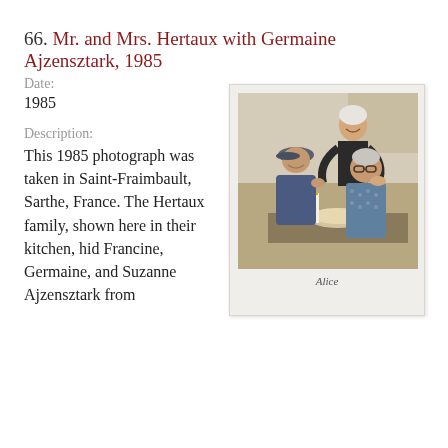66. Mr. and Mrs. Hertaux with Germaine Ajzensztark, 1985
Date:
1985
Description:
This 1985 photograph was taken in Saint-Fraimbault, Sarthe, France. The Hertaux family, shown here in their kitchen, hid Francine, Germaine, and Suzanne Ajzensztark from
[Figure (photo): A Polaroid-style photograph showing three elderly people in a kitchen setting. One woman is standing behind, smiling, and two others (a man in a cap and a woman) are seated in front of a table. There appears to be food on the table. The photo has a handwritten signature at the bottom.]